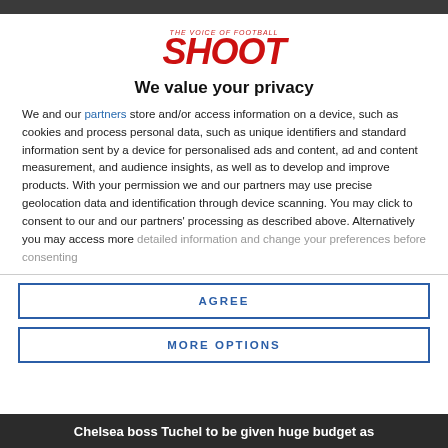[Figure (logo): SHOOT - THE VOICE OF FOOTBALL logo in red and black]
We value your privacy
We and our partners store and/or access information on a device, such as cookies and process personal data, such as unique identifiers and standard information sent by a device for personalised ads and content, ad and content measurement, and audience insights, as well as to develop and improve products. With your permission we and our partners may use precise geolocation data and identification through device scanning. You may click to consent to our and our partners' processing as described above. Alternatively you may access more detailed information and change your preferences before consenting
AGREE
MORE OPTIONS
Chelsea boss Tuchel to be given huge budget as